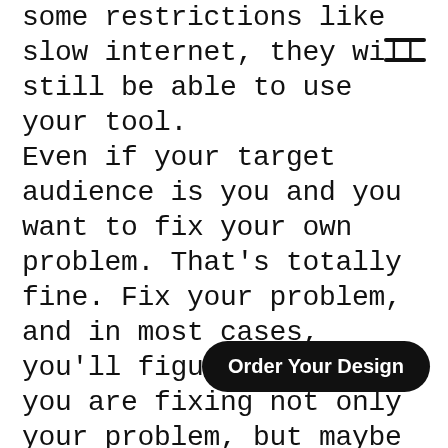some restrictions like slow internet, they will still be able to use your tool. Even if your target audience is you and you want to fix your own problem. That’s totally fine. Fix your problem, and in most cases, you’ll figure out that you are fixing not only your problem, but maybe 100, 1000, or even millions of others. I’ve been to the World Usability Day conference this week. One of the speakers from Google told a story about researching potential users of maps in India. And how Google Maps can work there for people who have unusual transport... People who started work on this project didn’t understand the problem that well.
[Figure (other): Hamburger menu icon (two horizontal lines) in top-right area]
Order Your Design